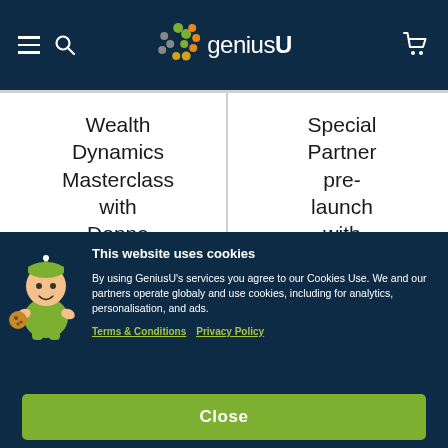geniusU navigation bar
Wealth Dynamics Masterclass with Donna Izobella
Special Partner pre-launch with Michelle
This website uses cookies
By using GeniusU's services you agree to our Cookies Use. We and our partners operate globaly and use cookies, including for analytics, personalisation, and ads.
Terms & Conditions   Privacy Policy
Close